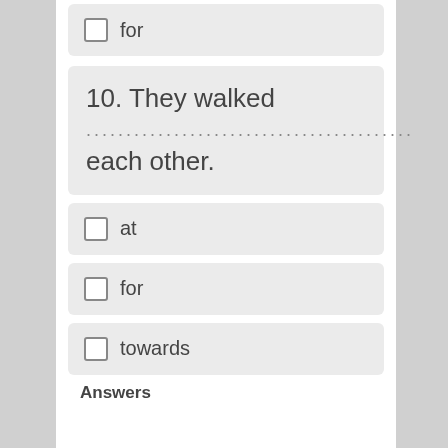for
10. They walked ................................ each other.
at
for
towards
Answers